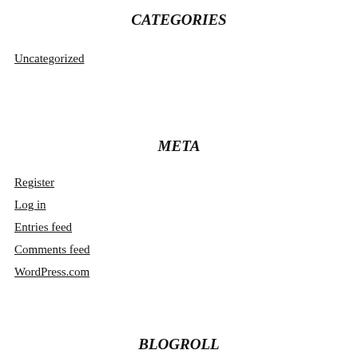CATEGORIES
Uncategorized
META
Register
Log in
Entries feed
Comments feed
WordPress.com
BLOGROLL